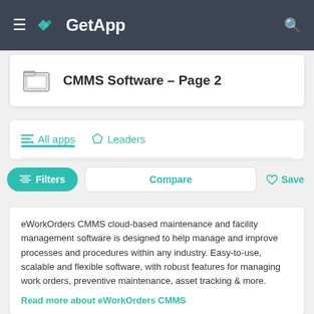GetApp
CMMS Software – Page 2
All apps   Leaders
Filters   Compare   Save
eWorkOrders CMMS cloud-based maintenance and facility management software is designed to help manage and improve processes and procedures within any industry. Easy-to-use, scalable and flexible software, with robust features for managing work orders, preventive maintenance, asset tracking & more.
Read more about eWorkOrders CMMS